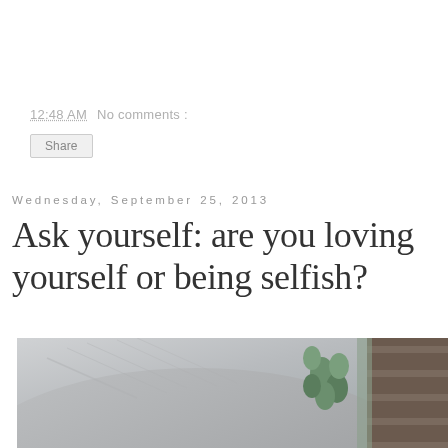12:48 AM   No comments :
Share
Wednesday, September 25, 2013
Ask yourself: are you loving yourself or being selfish?
[Figure (photo): Close-up photograph of what appears to be an animal (possibly a horse or elephant) with grey skin/fur, with green and wooden elements visible in the background]